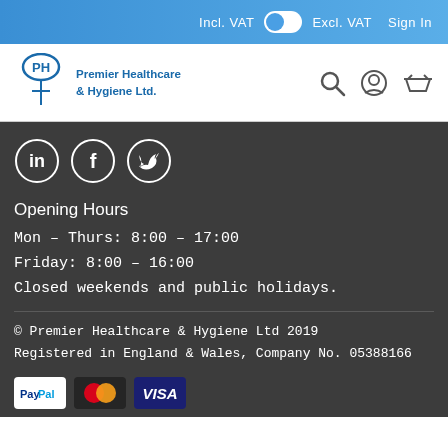Incl. VAT  [toggle]  Excl. VAT  Sign In
[Figure (logo): Premier Healthcare & Hygiene Ltd. logo with search, account, and basket icons]
[Figure (other): Social media icons: LinkedIn, Facebook, Twitter in white circles on dark background]
Opening Hours
Mon – Thurs: 8:00 – 17:00
Friday: 8:00 – 16:00
Closed weekends and public holidays.
© Premier Healthcare & Hygiene Ltd 2019
Registered in England & Wales, Company No. 05388166
[Figure (other): Payment method logos: PayPal, Mastercard, Visa]